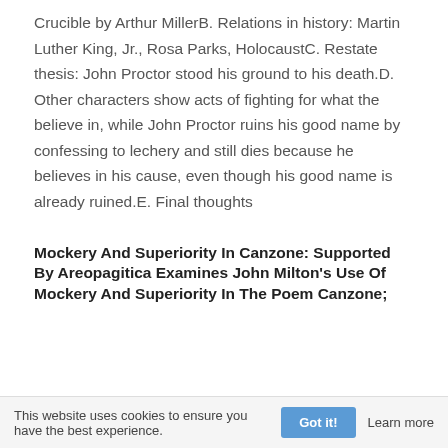Crucible by Arthur MillerB. Relations in history: Martin Luther King, Jr., Rosa Parks, HolocaustC. Restate thesis: John Proctor stood his ground to his death.D. Other characters show acts of fighting for what the believe in, while John Proctor ruins his good name by confessing to lechery and still dies because he believes in his cause, even though his good name is already ruined.E. Final thoughts
Mockery And Superiority In Canzone: Supported By Areopagitica Examines John Milton's Use Of Mockery And Superiority In The Poem Canzone;
This website uses cookies to ensure you have the best experience. Got it! Learn more